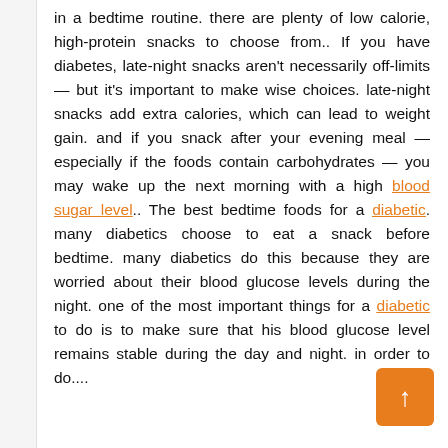in a bedtime routine. there are plenty of low calorie, high-protein snacks to choose from.. If you have diabetes, late-night snacks aren't necessarily off-limits — but it's important to make wise choices. late-night snacks add extra calories, which can lead to weight gain. and if you snack after your evening meal — especially if the foods contain carbohydrates — you may wake up the next morning with a high blood sugar level.. The best bedtime foods for a diabetic. many diabetics choose to eat a snack before bedtime. many diabetics do this because they are worried about their blood glucose levels during the night. one of the most important things for a diabetic to do is to make sure that his blood glucose level remains stable during the day and night. in order to do....